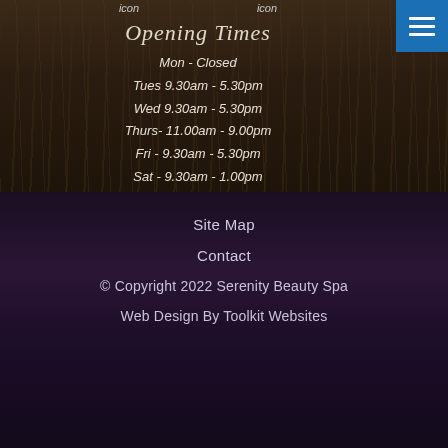icon   icon
Opening Times
Mon - Closed
Tues 9.30am - 5.30pm
Wed 9.30am - 5.30pm
Thurs- 11.00am - 9.00pm
Fri  - 9.30am - 5.30pm
Sat -  9.30am - 1.00pm
Site Map
Contact
© Copyright 2022 Serenity Beauty Spa
Web Design By Toolkit Websites